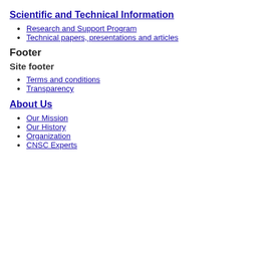Scientific and Technical Information
Research and Support Program
Technical papers, presentations and articles
Footer
Site footer
Terms and conditions
Transparency
About Us
Our Mission
Our History
Organization
CNSC Experts